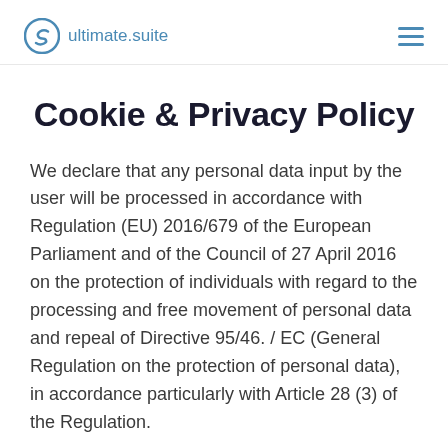ultimate.suite
Cookie & Privacy Policy
We declare that any personal data input by the user will be processed in accordance with Regulation (EU) 2016/679 of the European Parliament and of the Council of 27 April 2016 on the protection of individuals with regard to the processing and free movement of personal data and repeal of Directive 95/46. / EC (General Regulation on the protection of personal data), in accordance particularly with Article 28 (3) of the Regulation.